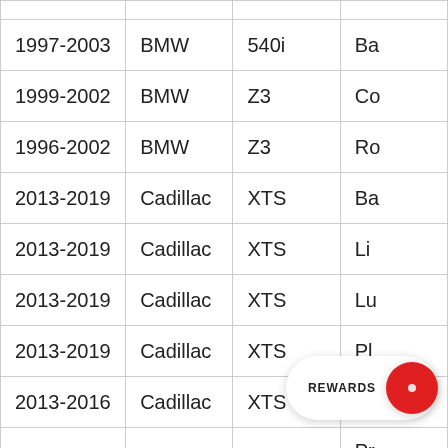| Year | Make | Model | Trim |
| --- | --- | --- | --- |
| 1997-2003 | BMW | 540i | Ba… |
| 1999-2002 | BMW | Z3 | Co… |
| 1996-2002 | BMW | Z3 | Ro… |
| 2013-2019 | Cadillac | XTS | Ba… |
| 2013-2019 | Cadillac | XTS | Li… |
| 2013-2019 | Cadillac | XTS | Lu… |
| 2013-2019 | Cadillac | XTS | Pl… |
| 2013-2016 | Cadillac | XTS | Pr… |
| 2017-2019 | Cadillac | XTS | Pr… / Lu… |
|  |  |  | Vs… |